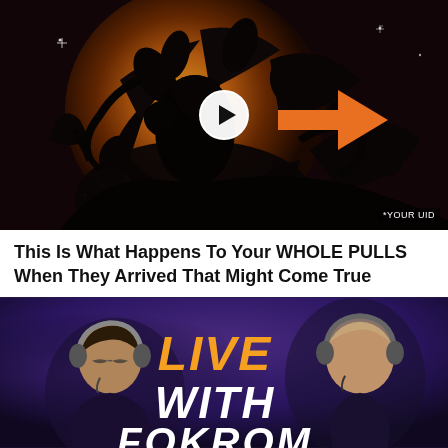[Figure (screenshot): Video thumbnail showing dark abstract floral/silhouette art with orange glow background, white play button circle in center, orange arrow pointing left toward play button, watermark '*YOUR UID' in bottom right corner]
This Is What Happens To Your WHOLE PULLS When They Arrived That Might Come True
[Figure (screenshot): Video thumbnail showing two people with gaming headsets in a dark purple-lit studio setting, with large bold text 'LIVE WITH' in orange and white overlay text partially visible]